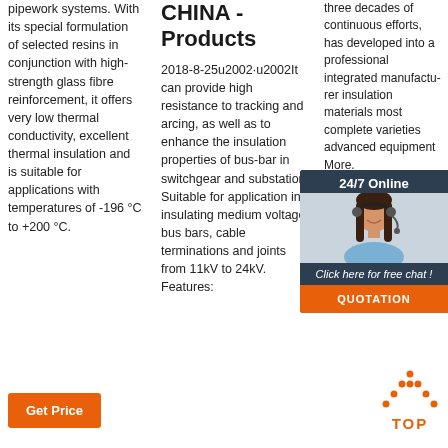pipework systems. With its special formulation of selected resins in conjunction with high-strength glass fibre reinforcement, it offers very low thermal conductivity, excellent thermal insulation and is suitable for applications with temperatures of -196 °C to +200 °C.
CHINA - Products
2018-8-25u2002·u2002It can provide high resistance to tracking and arcing, as well as to enhance the insulation properties of bus-bar in switchgear and substation. Suitable for application in insulating medium voltage bus bars, cable terminations and joints from 11kV to 24kV. Features:
three decades of continuous efforts, has developed into a professional integrated manufacturer insulation materials most complete varieties advanced equipment More.
[Figure (photo): Customer service representative with headset, chat popup overlay with '24/7 Online' header, 'Click here for free chat!' text, and orange QUOTATION button]
[Figure (other): Orange dotted triangle/arrow icon with 'TOP' text in orange below it]